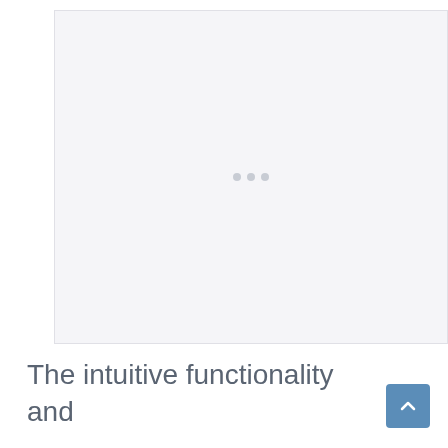[Figure (screenshot): A light gray rectangular placeholder image area with faint dots in the center, indicating a loading or blank image region.]
The intuitive functionality and